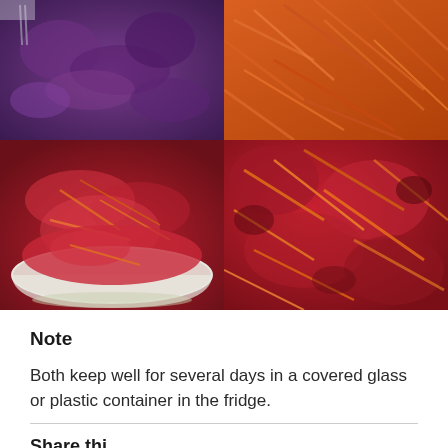[Figure (photo): A 2x2 grid of food photos: top-left shows shredded purple/red cabbage on a cutting board, top-right shows shredded orange carrots, bottom-left shows a bowl of mixed red cabbage and carrot salad, bottom-right shows a close-up of the same mixed salad.]
Note
Both keep well for several days in a covered glass or plastic container in the fridge.
Share this